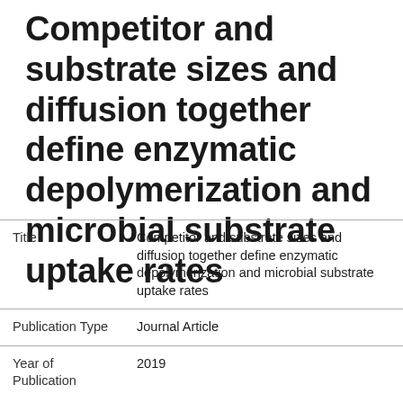Competitor and substrate sizes and diffusion together define enzymatic depolymerization and microbial substrate uptake rates
|  |  |
| --- | --- |
| Title | Competitor and substrate sizes and diffusion together define enzymatic depolymerization and microbial substrate uptake rates |
| Publication Type | Journal Article |
| Year of Publication | 2019 |